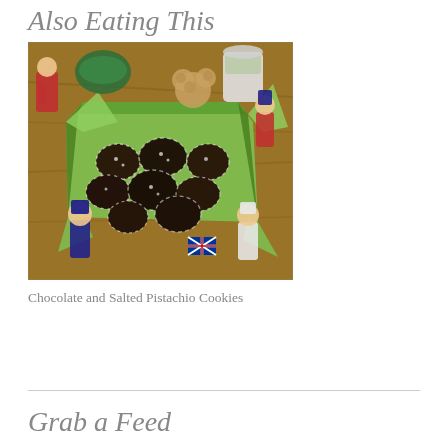Also Eating This
[Figure (photo): Overhead view of chocolate and salted pistachio cookies in a green-lined box, surrounded by British figurines, a teddy bear, and UK flag decorations on a wooden table.]
Chocolate and Salted Pistachio Cookies
Grab a Feed